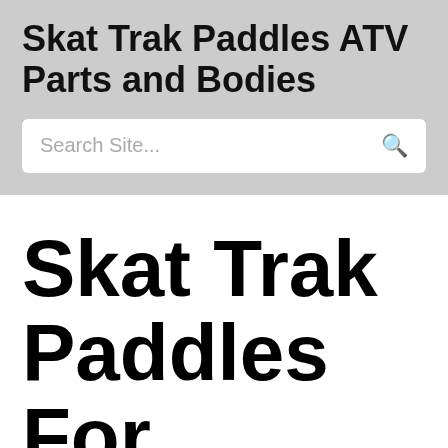Skat Trak Paddles ATV Parts and Bodies
Search Site...
Skat Trak Paddles For